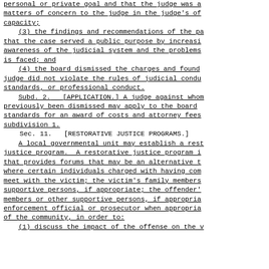personal or private goal and that the judge was a matters of concern to the judge in the judge's of capacity;
(3) the findings and recommendations of the pa that the case served a public purpose by increasi awareness of the judicial system and the problems is faced; and
(4) the board dismissed the charges and found judge did not violate the rules of judicial condu standards, or professional conduct.
Subd. 2. [APPLICATION.] A judge against whom previously been dismissed may apply to the board standards for an award of costs and attorney fees subdivision 1.
Sec. 11. [RESTORATIVE JUSTICE PROGRAMS.]
A local governmental unit may establish a rest justice program. A restorative justice program i that provides forums that may be an alternative t where certain individuals charged with having com meet with the victim; the victim's family members supportive persons, if appropriate; the offender' members or other supportive persons, if appropria enforcement official or prosecutor when appropria of the community, in order to:
(1) discuss the impact of the offense on the v